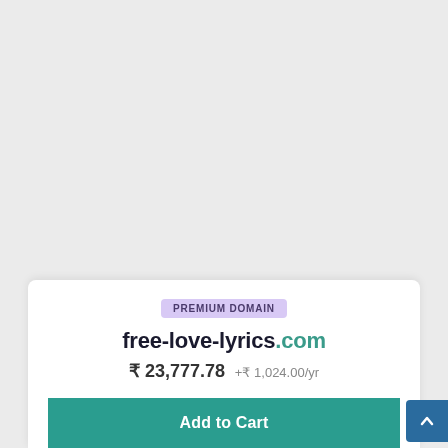PREMIUM DOMAIN
free-love-lyrics.com
₹ 23,777.78  +₹ 1,024.00/yr
Add to Cart